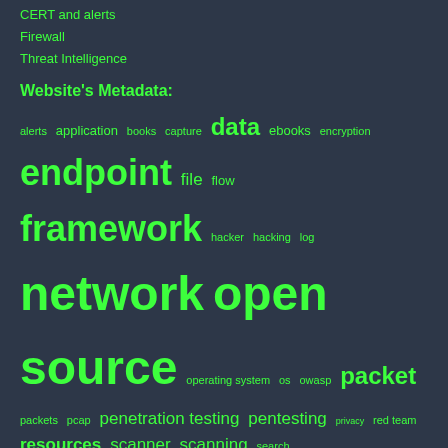CERT and alerts
Firewall
Threat Intelligence
Website's Metadata:
[Figure (other): Tag cloud with cybersecurity-related terms in varying font sizes indicating frequency/importance. Terms include: alerts, application, books, capture, data, ebooks, encryption, endpoint, file, flow, framework, hacker, hacking, log, network, open source, operating system, os, owasp, packet, packets, pcap, penetration testing, pentesting, privacy, red team, resources, scanner, scanning, search, security, source, spam, ssh, system, systems, testing, threat hunting, threats, tool, traffic, training, vulnerability, web, website]
External Link Disclaimer | Afiliate Links | Cookie Policy | Privacy Policy | About
Copyright © 2011-2022 Secure Cyber Solution. All Rights